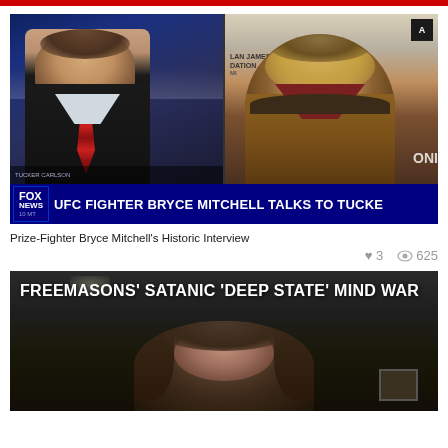[Figure (screenshot): Fox News Tucker Carlson Tonight screenshot showing Tucker Carlson on the left panel and UFC Fighter Bryce Mitchell on the right panel. Lower bar shows headline: UFC FIGHTER BRYCE MITCHELL TALKS TO TUCKER with TUCKER CARLSON TONIGHT ticker.]
Prize-Fighter Bryce Mitchell's Historic Interview
♥ 3   👁 625
[Figure (screenshot): Dark background video thumbnail with bold white text reading: FREEMASONS' SATANIC 'DEEP STATE' MIND WAR, with a person with long hair visible below.]